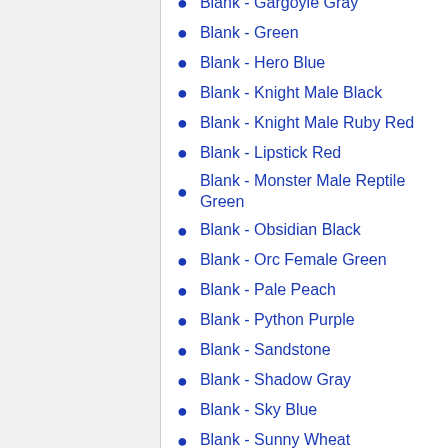Blank - Gargoyle Gray
Blank - Green
Blank - Hero Blue
Blank - Knight Male Black
Blank - Knight Male Ruby Red
Blank - Lipstick Red
Blank - Monster Male Reptile Green
Blank - Obsidian Black
Blank - Orc Female Green
Blank - Pale Peach
Blank - Python Purple
Blank - Sandstone
Blank - Shadow Gray
Blank - Sky Blue
Blank - Sunny Wheat
Blank - Sunset Orange
Blank - Transparent Orange
Blank - Treebark Brown
Blank - Walnut Brown